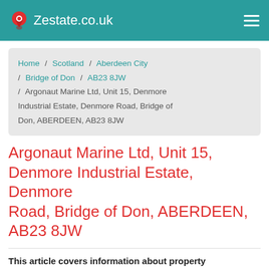Zestate.co.uk
Home / Scotland / Aberdeen City / Bridge of Don / AB23 8JW / Argonaut Marine Ltd, Unit 15, Denmore Industrial Estate, Denmore Road, Bridge of Don, ABERDEEN, AB23 8JW
Argonaut Marine Ltd, Unit 15, Denmore Industrial Estate, Denmore Road, Bridge of Don, ABERDEEN, AB23 8JW
This article covers information about property